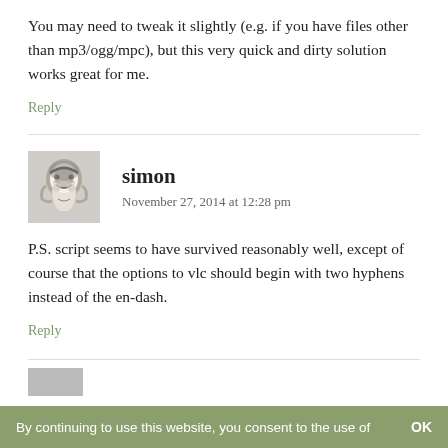You may need to tweak it slightly (e.g. if you have files other than mp3/ogg/mpc), but this very quick and dirty solution works great for me.
Reply
simon
November 27, 2014 at 12:28 pm
P.S. script seems to have survived reasonably well, except of course that the options to vlc should begin with two hyphens instead of the en-dash.
Reply
By continuing to use this website, you consent to the use of   OK